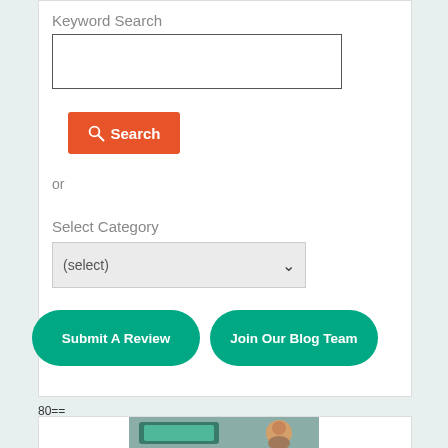Keyword Search
[Figure (screenshot): Empty text input box for keyword search]
[Figure (screenshot): Orange search button with magnifying glass icon and text 'Search']
or
Select Category
[Figure (screenshot): Dropdown select box showing '(select)' with chevron arrow]
[Figure (screenshot): Two green rounded buttons: 'Submit A Review' and 'Join Our Blog Team']
80==
[Figure (photo): Photo of a young girl looking at a tablet or screen with colorful educational content]